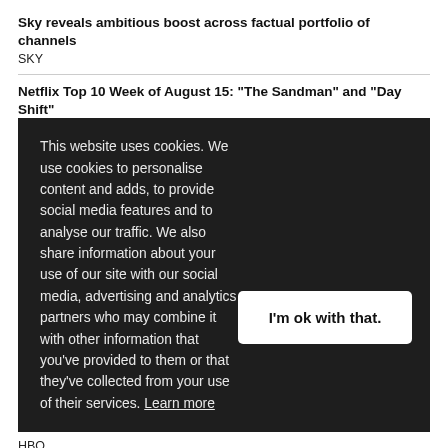Sky reveals ambitious boost across factual portfolio of channels
SKY
Netflix Top 10 Week of August 15: "The Sandman" and "Day Shift"
This website uses cookies. We use cookies to personalise content and adds, to provide social media features and to analyse our traffic. We also share information about your use of our site with our social media, advertising and analytics partners who may combine it with other information that you've provided to them or that they've collected from your use of their services. Learn more
HBO